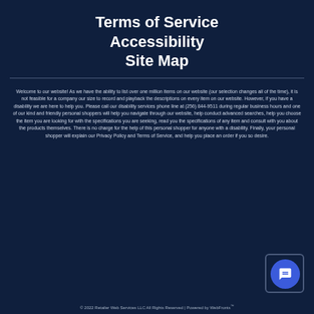Terms of Service
Accessibility
Site Map
Welcome to our website! As we have the ability to list over one million items on our website (our selection changes all of the time), it is not feasible for a company our size to record and playback the descriptions on every item on our website. However, if you have a disability we are here to help you. Please call our disability services phone line at (256) 844-9511 during regular business hours and one of our kind and friendly personal shoppers will help you navigate through our website, help conduct advanced searches, help you choose the item you are looking for with the specifications you are seeking, read you the specifications of any item and consult with you about the products themselves. There is no charge for the help of this personal shopper for anyone with a disability. Finally, your personal shopper will explain our Privacy Policy and Terms of Service, and help you place an order if you so desire.
© 2022 Retailer Web Services LLC All Rights Reserved | Powered by WebFronts™